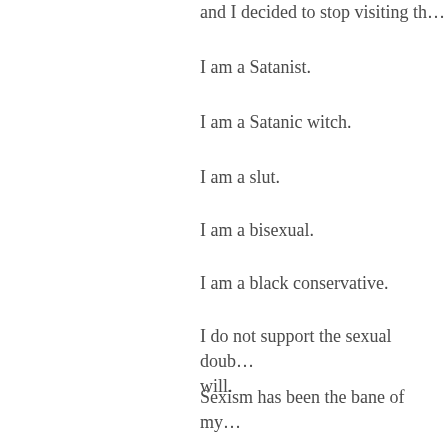and I decided to stop visiting th…
I am a Satanist.
I am a Satanic witch.
I am a slut.
I am a bisexual.
I am a black conservative.
I do not support the sexual doub… will.
Sexism has been the bane of my…
I used to hate being a girl.
I am a Social Darwinist.
I was a stripper.
I considered becoming a prostit…